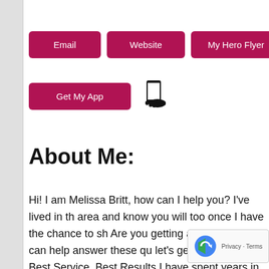[Figure (other): Navigation buttons row 1: Email, Website, My Hero Flyer, Get Pre-Appr(oval) — dark red/crimson rounded rectangle buttons]
[Figure (other): Navigation button row 2: Get My App button with phone icon]
About Me:
Hi! I am Melissa Britt, how can I help you? I've lived in the area and know you will too once I have the chance to sh... Are you getting a good deal? I can help answer these qu... let's get started today! Best Service, Best Results I have spent years in Property Management, working with owne... investor buyers. I also worked with sellers who no longe... estate and I'm always excited to help first time ... decisions when it comes to their real estate ne...